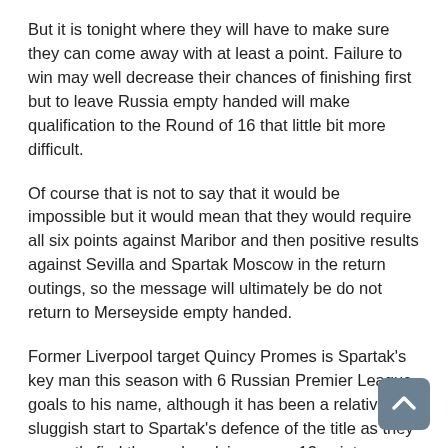But it is tonight where they will have to make sure they can come away with at least a point. Failure to win may well decrease their chances of finishing first but to leave Russia empty handed will make qualification to the Round of 16 that little bit more difficult.
Of course that is not to say that it would be impossible but it would mean that they would require all six points against Maribor and then positive results against Sevilla and Spartak Moscow in the return outings, so the message will ultimately be do not return to Merseyside empty handed.
Former Liverpool target Quincy Promes is Spartak's key man this season with 6 Russian Premier League goals to his name, although it has been a relatively sluggish start to Spartak's defence of the title as they currently find themselves lying some 13 points leaders Zenit as they sit 8th in the table.
They will hope that their fortunes are somewhat better this evening against Liverpool although the last time these two met in the Champions League Group Stages was back in the 2012/13 season and the Russians were on the losing side both times.